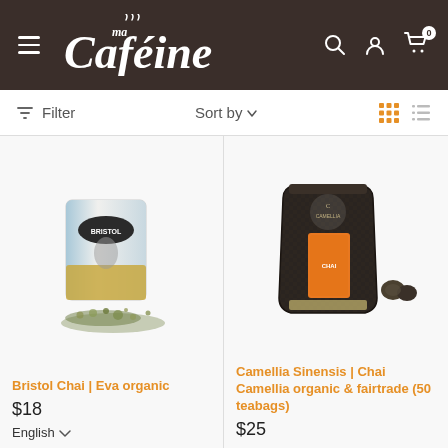Ma Caféine — navigation header with hamburger menu, logo, search, account, and cart icons
Filter   Sort by ▾   [grid view] [list view]
[Figure (photo): Bristol Chai Eva organic tea package with loose tea leaves spilled in front, white and gold packaging]
Bristol Chai | Eva organic
$18
[Figure (photo): Camellia Sinensis Chai Camellia organic & fairtrade dark pouch with orange label and tea capsules]
Camellia Sinensis | Chai Camellia organic & fairtrade (50 teabags)
$25
English ▾